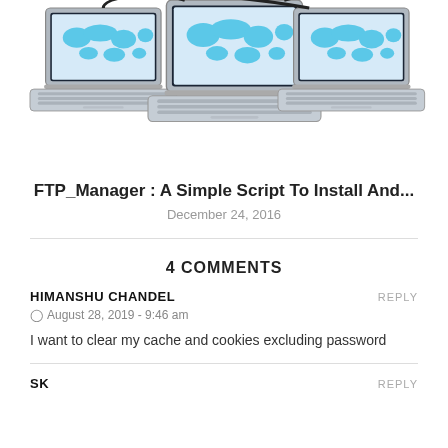[Figure (illustration): Three laptops connected by cables, each showing a world map on screen, arranged side by side.]
FTP_Manager : A Simple Script To Install And...
December 24, 2016
4 COMMENTS
HIMANSHU CHANDEL
August 28, 2019 - 9:46 am
I want to clear my cache and cookies excluding password
SK